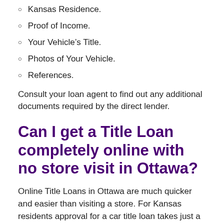Kansas Residence.
Proof of Income.
Your Vehicle's Title.
Photos of Your Vehicle.
References.
Consult your loan agent to find out any additional documents required by the direct lender.
Can I get a Title Loan completely online with no store visit in Ottawa?
Online Title Loans in Ottawa are much quicker and easier than visiting a store. For Kansas residents approval for a car title loan takes just a few minutes with no store visit.
Just fill out a fast application form online and submit all the